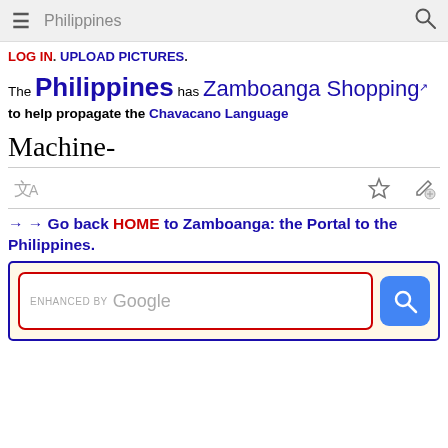Philippines
LOG IN. UPLOAD PICTURES.
The Philippines has Zamboanga Shopping to help propagate the Chavacano Language
Machine-
[Figure (other): Icon row with translation icon on left and star/edit icons on right]
→ → Go back HOME to Zamboanga: the Portal to the Philippines.
[Figure (screenshot): Google enhanced search box with red border inside a beige/yellow bordered container with blue search button]